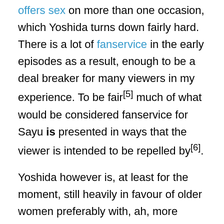offers sex on more than one occasion, which Yoshida turns down fairly hard. There is a lot of fanservice in the early episodes as a result, enough to be a deal breaker for many viewers in my experience. To be fair[5] much of what would be considered fanservice for Sayu is presented in ways that the viewer is intended to be repelled by[6].
Yoshida however is, at least for the moment, still heavily in favour of older women preferably with, ah, more developed chests than a high schooler. He may be better than most men, but he's still a man.
The Developments Over Time
Over the course of the next several episodes there is a slowly growing network of relationships involving Sayu and Yoshida, and...